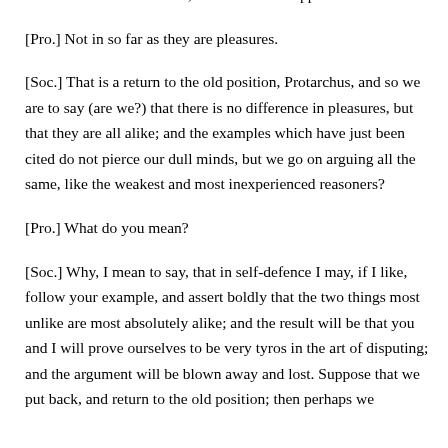different from one another, and sometimes opposed.
[Pro.] Not in so far as they are pleasures.
[Soc.] That is a return to the old position, Protarchus, and so we are to say (are we?) that there is no difference in pleasures, but that they are all alike; and the examples which have just been cited do not pierce our dull minds, but we go on arguing all the same, like the weakest and most inexperienced reasoners?
[Pro.] What do you mean?
[Soc.] Why, I mean to say, that in self-defence I may, if I like, follow your example, and assert boldly that the two things most unlike are most absolutely alike; and the result will be that you and I will prove ourselves to be very tyros in the art of disputing; and the argument will be blown away and lost. Suppose that we put back, and return to the old position; then perhaps we